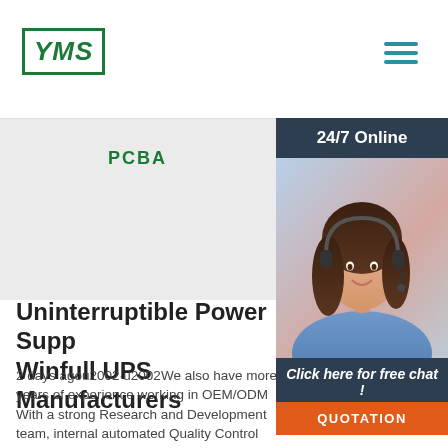YMS
PCBA
[Figure (illustration): Customer service agent woman with headset, sidebar panel with 24/7 Online label, Click here for free chat, and QUOTATION button]
Uninterruptible Power Supply - Winfull UPS Manufacturers
2 days agou2002·u2002We also have more years of experience working in OEM/ODM With a strong Research and Development team, internal automated Quality Control equipment and high manufacturing capability, as well as in-depth knowledge of customer requirement, we have become one of the best OEM/ODM suppliers in the Inverter/UPS(Uninterruptible Power ...